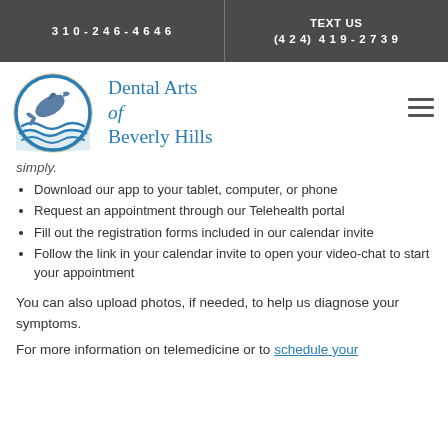310-246-4646 | TEXT US (424) 419-2739
[Figure (logo): Dental Arts of Beverly Hills logo with dolphin and waves in a circle, blue tones]
Dental Arts of Beverly Hills
simply.
Download our app to your tablet, computer, or phone
Request an appointment through our Telehealth portal
Fill out the registration forms included in our calendar invite
Follow the link in your calendar invite to open your video-chat to start your appointment
You can also upload photos, if needed, to help us diagnose your symptoms.
For more information on telemedicine or to schedule your